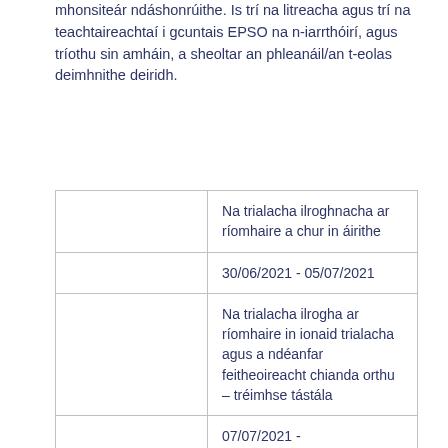mhonsiteár ndáshonrúithe. Is trí na litreacha agus trí na teachtaireachtaí i gcuntais EPSO na n-iarrthóirí, agus tríothu sin amháin, a sheoltar an phleanáil/an t-eolas deimhnithe deiridh.
|  | Na trialacha ilroghnacha ar ríomhaire a chur in áirithe |
|  | 30/06/2021 - 05/07/2021 |
|  | Na trialacha ilrogha ar ríomhaire in ionaid trialacha agus a ndéanfar feitheoireacht chianda orthu – tréimhse tástála |
|  | 07/07/2021 - |